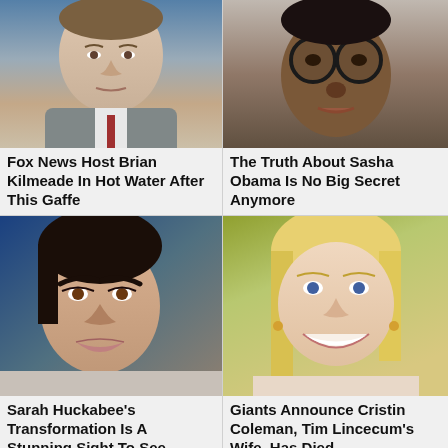[Figure (photo): Close-up photo of a man (Fox News Host Brian Kilmeade) in a suit against blue background]
Fox News Host Brian Kilmeade In Hot Water After This Gaffe
[Figure (photo): Close-up photo of a young Black woman (Sasha Obama) wearing round glasses]
The Truth About Sasha Obama Is No Big Secret Anymore
[Figure (photo): Close-up photo of a woman (Sarah Huckabee Sanders) with dark hair against blue background]
Sarah Huckabee's Transformation Is A Stunning Sight To See
[Figure (photo): Photo of a smiling blonde woman (Cristin Coleman) outdoors]
Giants Announce Cristin Coleman, Tim Lincecum's Wife, Has Died